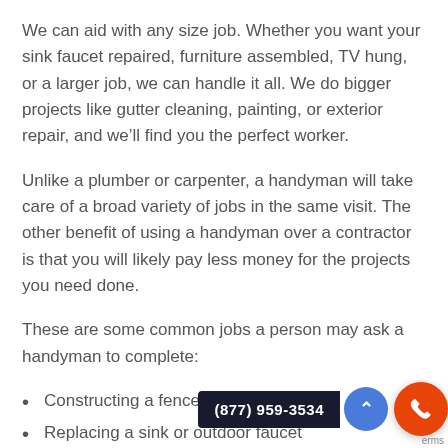We can aid with any size job. Whether you want your sink faucet repaired, furniture assembled, TV hung, or a larger job, we can handle it all. We do bigger projects like gutter cleaning, painting, or exterior repair, and we'll find you the perfect worker.
Unlike a plumber or carpenter, a handyman will take care of a broad variety of jobs in the same visit. The other benefit of using a handyman over a contractor is that you will likely pay less money for the projects you need done.
These are some common jobs a person may ask a handyman to complete:
Constructing a fence or dec...
Replacing a sink or outdoor faucet